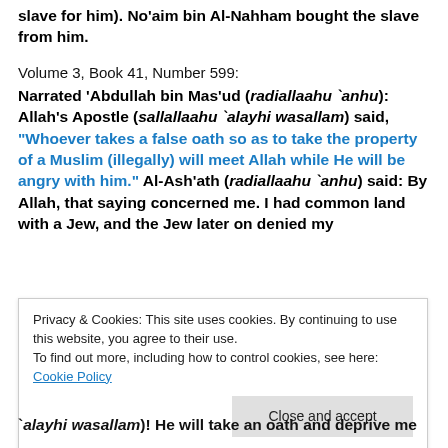slave for him). No'aim bin Al-Nahham bought the slave from him.
Volume 3, Book 41, Number 599:
Narrated 'Abdullah bin Mas'ud (radiallaahu `anhu): Allah's Apostle (sallallaahu `alayhi wasallam) said, “Whoever takes a false oath so as to take the property of a Muslim (illegally) will meet Allah while He will be angry with him.” Al-Ash’ath (radiallaahu `anhu) said: By Allah, that saying concerned me. I had common land with a Jew, and the Jew later on denied my
Privacy & Cookies: This site uses cookies. By continuing to use this website, you agree to their use.
To find out more, including how to control cookies, see here: Cookie Policy
`alayhi wasallam)! He will take an oath and deprive me